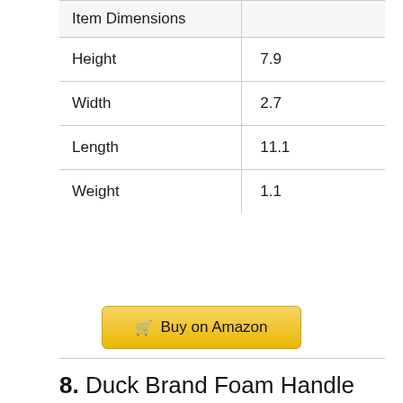| Item Dimensions |  |
| --- | --- |
| Height | 7.9 |
| Width | 2.7 |
| Length | 11.1 |
| Weight | 1.1 |
Buy on Amazon
8. Duck Brand Foam Handle Tape Dispenser with HD Clear Packaging Tape, 1.88 Inches x 50 Yards (280737)